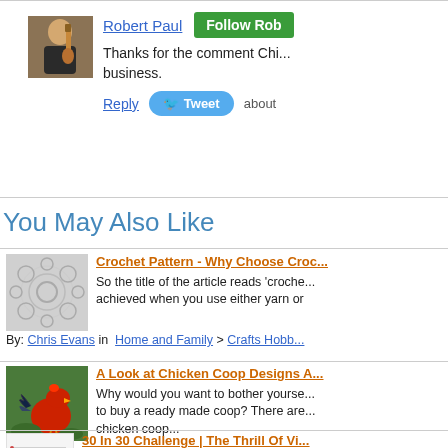[Figure (photo): Profile photo of Robert Paul holding a guitar]
Robert Paul
Follow Rob
Thanks for the comment Chi... business.
Reply  Tweet  about
You May Also Like
[Figure (photo): Crochet lace pattern thumbnail]
Crochet Pattern - Why Choose Croc...
So the title of the article reads 'croche... achieved when you use either yarn or
By: Chris Evans in  Home and Family  >  Crafts Hobb...
[Figure (photo): Chicken rooster illustration thumbnail]
A Look at Chicken Coop Designs A...
Why would you want to bother yourse... to buy a ready made coop? There are... chicken coop...
By: Chris Evans in  Pets  >  Birds  Aug 03, 2011
[Figure (photo): 30 In 30 Challenge thumbnail - notebook/list image]
30 In 30 Challenge | The Thrill Of Vi...